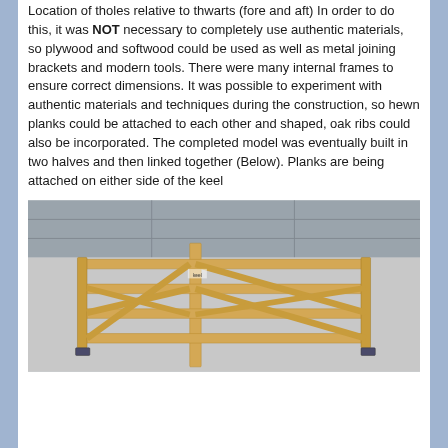Location of tholes relative to thwarts (fore and aft) In order to do this, it was NOT necessary to completely use authentic materials, so plywood and softwood could be used as well as metal joining brackets and modern tools. There were many internal frames to ensure correct dimensions. It was possible to experiment with authentic materials and techniques during the construction, so hewn planks could be attached to each other and shaped, oak ribs could also be incorporated. The completed model was eventually built in two halves and then linked together (Below). Planks are being attached on either side of the keel
[Figure (photo): Photograph of a wooden boat frame under construction, showing planks attached to an internal frame/keel structure, viewed from above at an angle, in what appears to be a workshop setting.]